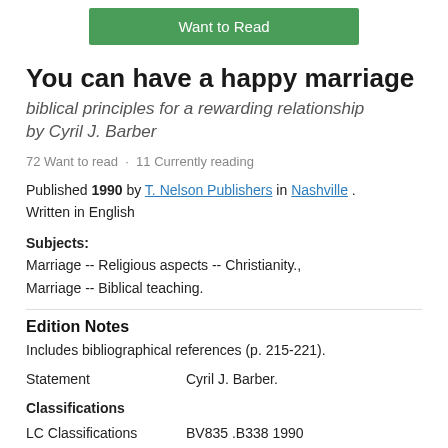[Figure (other): Green 'Want to Read' button]
You can have a happy marriage
biblical principles for a rewarding relationship by Cyril J. Barber
72 Want to read · 11 Currently reading
Published 1990 by T. Nelson Publishers in Nashville . Written in English
Subjects: Marriage -- Religious aspects -- Christianity., Marriage -- Biblical teaching.
Edition Notes
Includes bibliographical references (p. 215-221).
| Statement | Cyril J. Barber. |
| --- | --- |
| Classifications |  |
| --- | --- |
| LC Classifications | BV835 .B338 1990 |